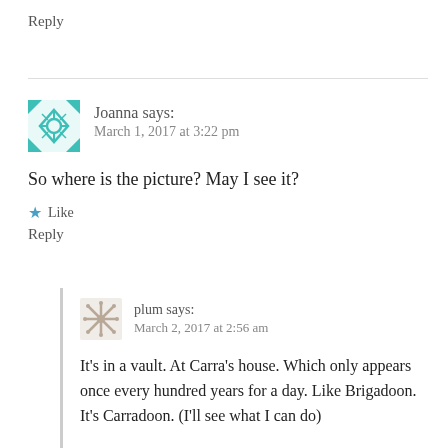Reply
Joanna says:
March 1, 2017 at 3:22 pm
So where is the picture? May I see it?
Like
Reply
plum says:
March 2, 2017 at 2:56 am
It's in a vault. At Carra's house. Which only appears once every hundred years for a day. Like Brigadoon. It's Carradoon. (I'll see what I can do)